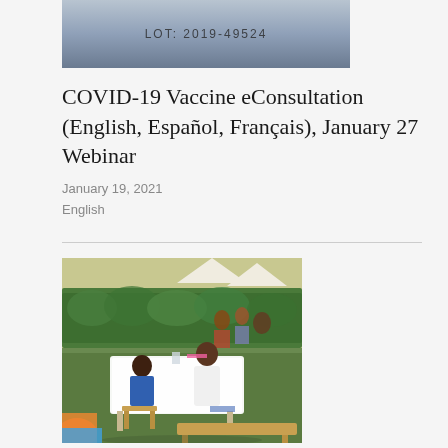[Figure (photo): Partial top image showing what appears to be a vaccine vial label, cropped at top of page]
COVID-19 Vaccine eConsultation (English, Español, Français), January 27 Webinar
January 19, 2021
English
[Figure (photo): Outdoor vaccination or health consultation scene in Africa, with a healthcare worker in white coat attending to a seated person at a table covered with a white cloth, with other people waiting in background near green hedges and white tents]